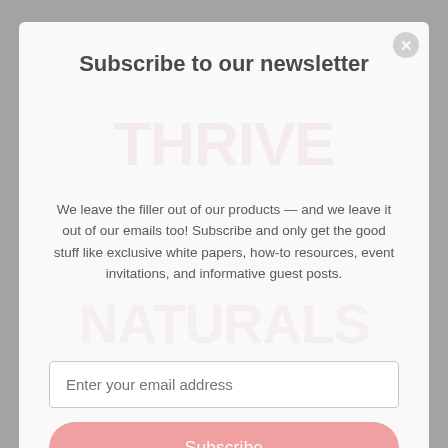Subscribe to our newsletter
We leave the filler out of our products — and we leave it out of our emails too! Subscribe and only get the good stuff like exclusive white papers, how-to resources, event invitations, and informative guest posts.
Enter your email address
Subscribe